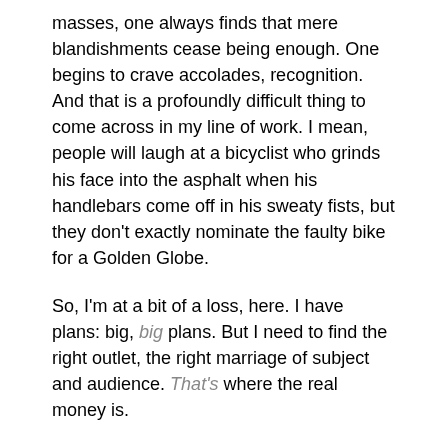masses, one always finds that mere blandishments cease being enough. One begins to crave accolades, recognition. And that is a profoundly difficult thing to come across in my line of work. I mean, people will laugh at a bicyclist who grinds his face into the asphalt when his handlebars come off in his sweaty fists, but they don't exactly nominate the faulty bike for a Golden Globe.
So, I'm at a bit of a loss, here. I have plans: big, big plans. But I need to find the right outlet, the right marriage of subject and audience. That's where the real money is.
I'm talking, of course, about Tragedy with a capital 'T'. Failure is sweet, but the real star of our memories and our regrets is the Inescapable Tragedy, the Ineluctable Mass Atrocity. We enshrine such events, singing eternal, bleak paeans to them in marble. That's the closest to an award I can hope to obtain.
So, yes. I'm working on a few things. But, in the